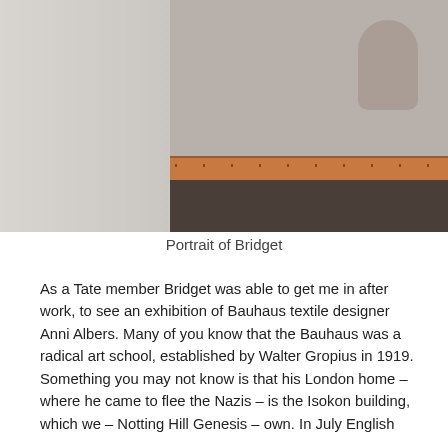[Figure (photo): Interior photograph showing a light grey wall on the left and a darker room interior on the right, with a wooden frame element at the bottom and a dark floor. A faint figure silhouette is visible in the upper right portion.]
Portrait of Bridget
As a Tate member Bridget was able to get me in after work, to see an exhibition of Bauhaus textile designer Anni Albers. Many of you know that the Bauhaus was a radical art school, established by Walter Gropius in 1919. Something you may not know is that his London home – where he came to flee the Nazis – is the Isokon building, which we – Notting Hill Genesis – own. In July English